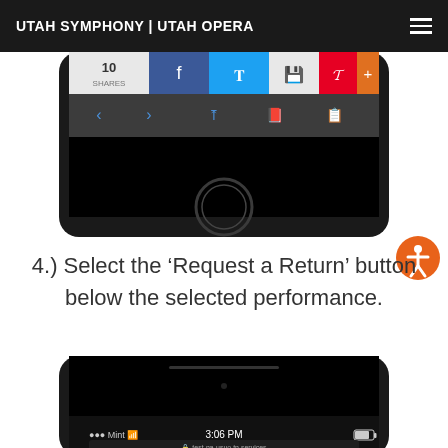UTAH SYMPHONY | UTAH OPERA
[Figure (screenshot): Bottom portion of an iPhone showing the browser share sheet with social media buttons (Facebook, Twitter, and others) and navigation bar, above the home button area]
[Figure (illustration): Orange circular accessibility icon with a human figure]
4.) Select the ‘Request a Return’ button below the selected performance.
[Figure (screenshot): Top portion of an iPhone showing a dark screen with status bar reading 3:06 PM, Mint carrier, and address bar showing test-na-usuo.tn.services]